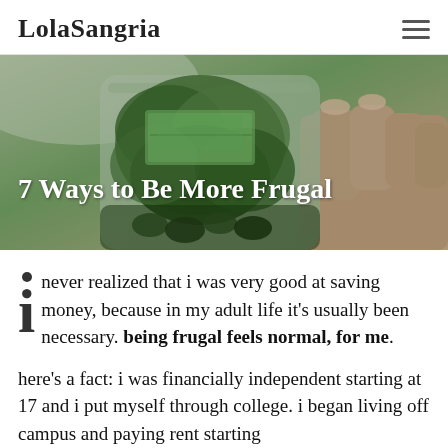LolaSangria
[Figure (photo): A hand holding a glass jar filled with green herbs and money, with overlaid text '7 Ways to Be More Frugal']
7 Ways to Be More Frugal
i never realized that i was very good at saving money, because in my adult life it's usually been necessary. being frugal feels normal, for me.
here's a fact: i was financially independent starting at 17 and i put myself through college. i began living off campus and paying rent starting